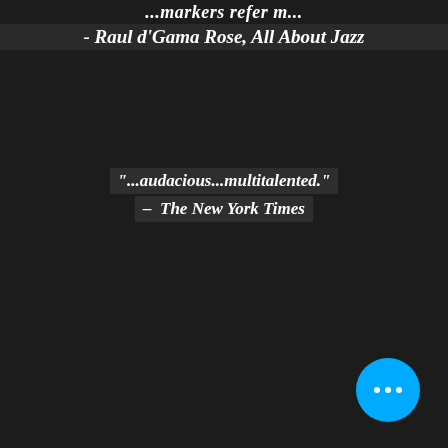...markers refer m...
- Raul d'Gama Rose, All About Jazz
"...audacious...multitalented."
- The New York Times